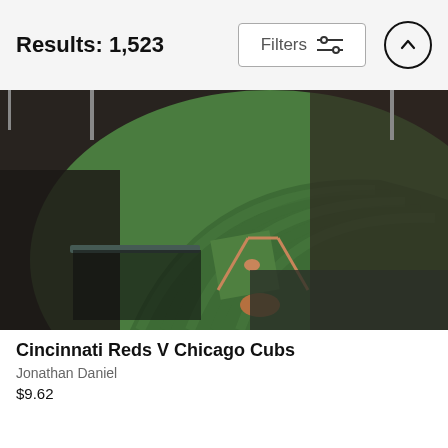Results: 1,523
[Figure (screenshot): Filters button with sliders icon]
[Figure (photo): Aerial view of a baseball stadium (Wrigley Field) showing the field, diamond, stands full of spectators, night game]
Cincinnati Reds V Chicago Cubs
Jonathan Daniel
$9.62
[Figure (photo): Baseball stadium at dusk/night with dramatic pink and blue sky, fisheye/panoramic view from inside the stadium]